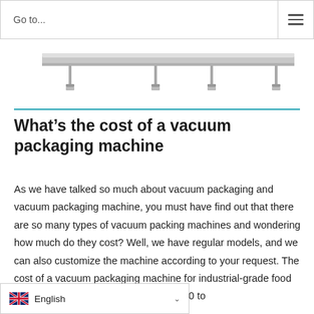Go to...
[Figure (photo): Partial view of a vacuum packaging machine, showing a long metallic bar/rail component on a white background]
What’s the cost of a vacuum packaging machine
As we have talked so much about vacuum packaging and vacuum packaging machine, you must have find out that there are so many types of vacuum packing machines and wondering how much do they cost? Well, we have regular models, and we can also customize the machine according to your request. The cost of a vacuum packaging machine for industrial-grade food products ranges from around USD 1000 to